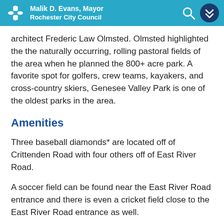Malik D. Evans, Mayor Rochester City Council
architect Frederic Law Olmsted. Olmsted highlighted the the naturally occurring, rolling pastoral fields of the area when he planned the 800+ acre park. A favorite spot for golfers, crew teams, kayakers, and cross-country skiers, Genesee Valley Park is one of the oldest parks in the area.
Amenities
Three baseball diamonds* are located off of Crittenden Road with four others off of East River Road.
A soccer field can be found near the East River Road entrance and there is even a cricket field close to the East River Road entrance as well.